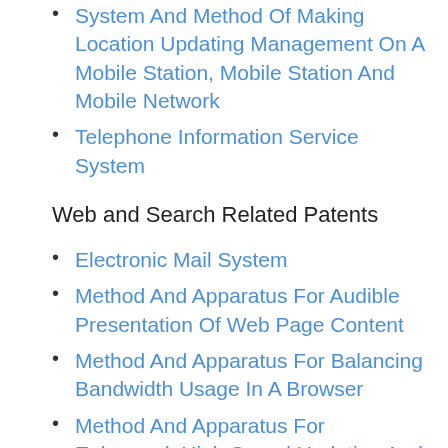System And Method Of Making Location Updating Management On A Mobile Station, Mobile Station And Mobile Network
Telephone Information Service System
Web and Search Related Patents
Electronic Mail System
Method And Apparatus For Audible Presentation Of Web Page Content
Method And Apparatus For Balancing Bandwidth Usage In A Browser
Method And Apparatus For Enhanced, High Speed Updating And Storing Of E-Commerce Orders In A Server
Method And System For Document Collection Final Search Result By